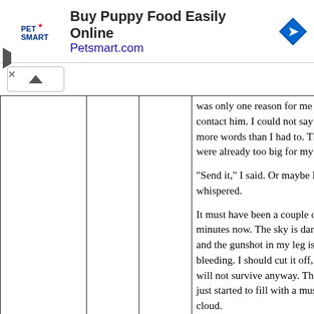[Figure (other): PetSmart advertisement banner: 'Buy Puppy Food Easily Online' and 'Petsmart.com' with PetSmart logo and navigation arrow icon]
|  |  |  | was only one reason for me to contact him. I could not say any more words than I had to. They were already too big for my mouth.

"Send it," I said. Or maybe I whispered.

It must have been a couple of minutes now. The sky is dark blue and the gunshot in my leg is still bleeding. I should cut it off, but I will not survive anyway. The sky just started to fill with a mushroom cloud. |
| The Crater I Created | -1890.9 | -1574.7 | There’s a note written in Russian tied to a small matryoshka doll:

It felt weird to open my eyes. I had |